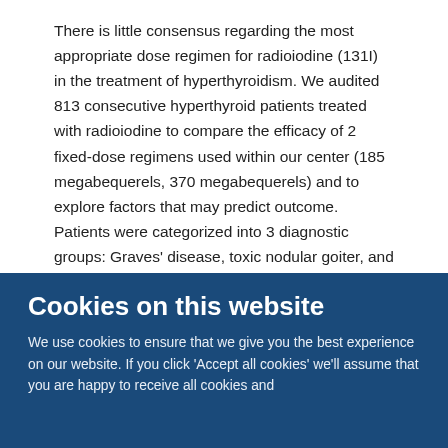There is little consensus regarding the most appropriate dose regimen for radioiodine (131I) in the treatment of hyperthyroidism. We audited 813 consecutive hyperthyroid patients treated with radioiodine to compare the efficacy of 2 fixed-dose regimens used within our center (185 megabequerels, 370 megabequerels) and to explore factors that may predict outcome. Patients were categorized into 3 diagnostic groups: Graves' disease, toxic nodular goiter, and hyperthyroidism of indeterminate etiology. Cure after a single dose of 131I was investigated and defined as euthyroid off all treatment for 6 months or T4 replacement for biochemical hypothyroidism in all groups. As expected, patients given a single dose of 370 megabequerels had a higher cure rate than those given 185 megabequerels, (84.6% vs. 66.6%, P < 0.0001)
Cookies on this website
We use cookies to ensure that we give you the best experience on our website. If you click 'Accept all cookies' we'll assume that you are happy to receive all cookies and